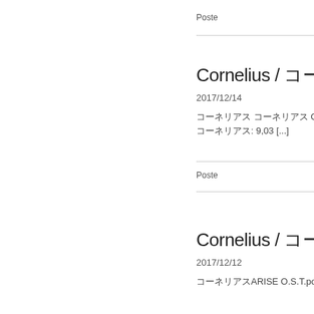Poste
Cornelius / コーネリアス コーネリアス
2017/12/14
コーネリアス コーネリアス O.S.T.music by Corneliusp
コーネリアス: 9,03 [...]
Poste
Cornelius / コーネリアス Aris
2017/12/12
コーネリアスARISE O.S.T.posted with ama.